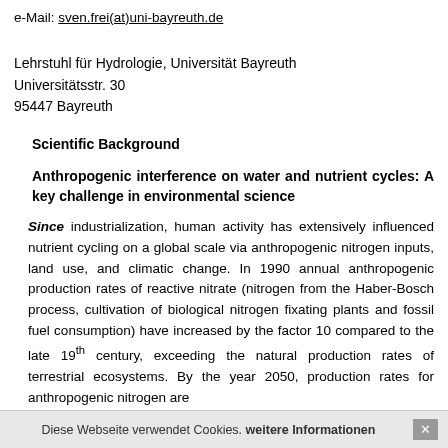e-Mail: sven.frei(at)uni-bayreuth.de
Lehrstuhl für Hydrologie, Universität Bayreuth
Universitätsstr. 30
95447 Bayreuth
Scientific Background
Anthropogenic interference on water and nutrient cycles: A key challenge in environmental science
Since industrialization, human activity has extensively influenced nutrient cycling on a global scale via anthropogenic nitrogen inputs, land use, and climatic change. In 1990 annual anthropogenic production rates of reactive nitrate (nitrogen from the Haber-Bosch process, cultivation of biological nitrogen fixating plants and fossil fuel consumption) have increased by the factor 10 compared to the late 19th century, exceeding the natural production rates of terrestrial ecosystems. By the year 2050, production rates for anthropogenic nitrogen are
Diese Webseite verwendet Cookies. weitere Informationen